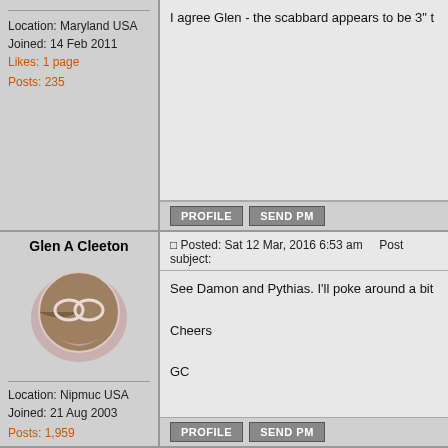I agree Glen - the scabbard appears to be 3" t
Location: Maryland USA
Joined: 14 Feb 2011
Likes: 1 page
Posts: 235
PROFILE  SEND PM
Glen A Cleeton
[Figure (photo): User avatar - circular badge with pink/brown decorative design with interlocked loops]
Posted: Sat 12 Mar, 2016 6:53 am    Post subject:
See Damon and Pythias. I'll poke around a bit

Cheers

GC
Location: Nipmuc USA
Joined: 21 Aug 2003
Posts: 1,959
PROFILE  SEND PM
Glen A Cleeton
[Figure (photo): User avatar - circular badge with pink/brown decorative design with interlocked loops]
Posted: Sat 12 Mar, 2016 7:04 am    Post subject:
Quote:
The Knights of Pythias also has a side de the Nomads of Avrudaka.[8] Finally, memb in parades and other processions.[7] Swo a dove, or a lily. (The Uniformed Rank wa
Location: Nipmuc USA